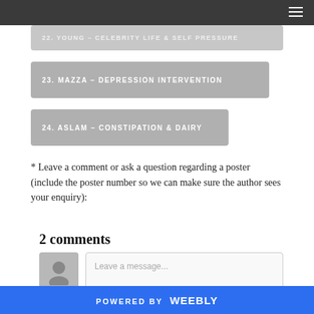23. MAZZA – DEPRESSION INTERVENTION
24. ASLAM – CONSTIPATION & DAIRY
* Leave a comment or ask a question regarding a poster (include the poster number so we can make sure the author sees your enquiry):
2 comments
POWERED BY weebly